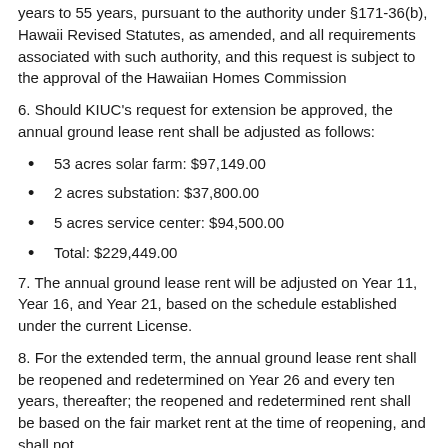years to 55 years, pursuant to the authority under §171-36(b), Hawaii Revised Statutes, as amended, and all requirements associated with such authority, and this request is subject to the approval of the Hawaiian Homes Commission
6. Should KIUC's request for extension be approved, the annual ground lease rent shall be adjusted as follows:
53 acres solar farm: $97,149.00
2 acres substation: $37,800.00
5 acres service center: $94,500.00
Total: $229,449.00
7. The annual ground lease rent will be adjusted on Year 11, Year 16, and Year 21, based on the schedule established under the current License.
8. For the extended term, the annual ground lease rent shall be reopened and redetermined on Year 26 and every ten years, thereafter; the reopened and redetermined rent shall be based on the fair market rent at the time of reopening, and shall not